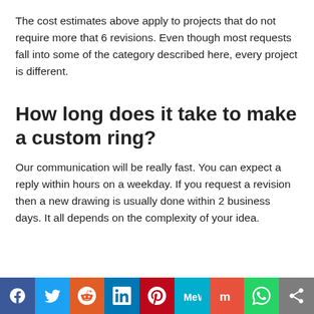The cost estimates above apply to projects that do not require more that 6 revisions. Even though most requests fall into some of the category described here, every project is different.
How long does it take to make a custom ring?
Our communication will be really fast. You can expect a reply within hours on a weekday. If you request a revision then a new drawing is usually done within 2 business days. It all depends on the complexity of your idea.
[Figure (other): Social sharing bar with icons for Facebook, Twitter, Reddit, LinkedIn, Pinterest, MeWe, Mix, WhatsApp, and a share button]